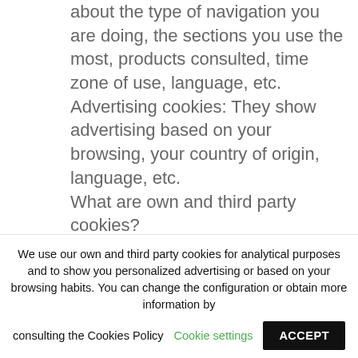about the type of navigation you are doing, the sections you use the most, products consulted, time zone of use, language, etc. Advertising cookies: They show advertising based on your browsing, your country of origin, language, etc. What are own and third party cookies?
Own cookies are those generated by the page you are visiting and those of third parties are those generated by external services or providers such as Facebook, Twitter, Google, etc.
What happens if I deactivate cookies?
We use our own and third party cookies for analytical purposes and to show you personalized advertising or based on your browsing habits. You can change the configuration or obtain more information by consulting the Cookies Policy
Cookie settings
ACCEPT